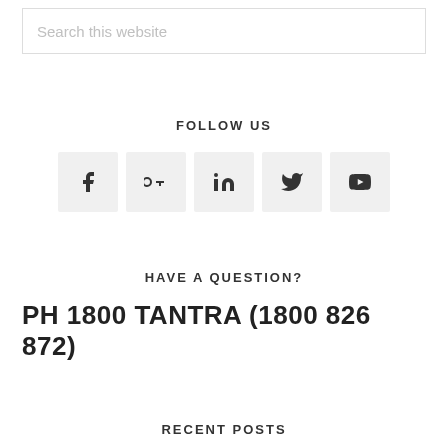Search this website
FOLLOW US
[Figure (other): Social media icons row: Facebook, Google+, LinkedIn, Twitter, YouTube]
HAVE A QUESTION?
PH 1800 TANTRA (1800 826 872)
RECENT POSTS